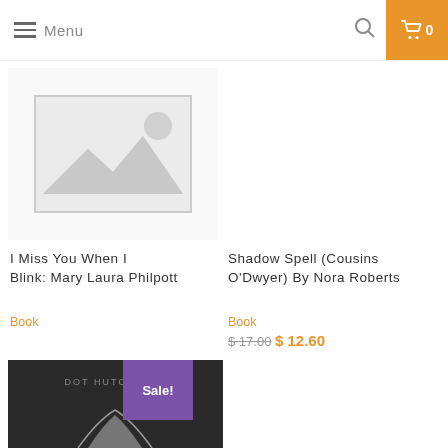Menu | Search | Cart 0
[Figure (illustration): Placeholder image thumbnail with mountain/landscape icon and grey border]
I Miss You When I Blink: Mary Laura Philpott
Book
[Figure (photo): Book cover of Shadow Spell (Cousins O'Dwyer) by Nora Roberts — forest scene with bird, win a magical stay in an Irish castle badge, NR logo, sale badge top right]
Shadow Spell (Cousins O'Dwyer) By Nora Roberts
Book
$17.00  $12.60
[Figure (photo): Partial book cover by Dot Hutchison — dark cover with partial white butterfly motif and Sale! badge top right]